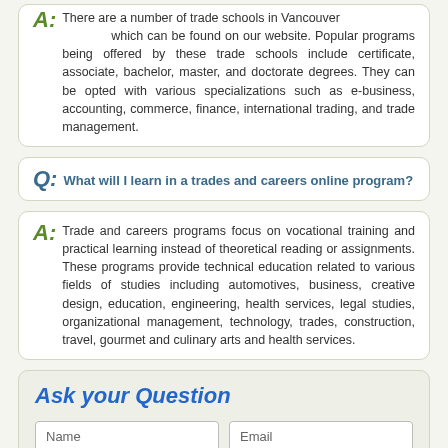There are a number of trade schools in Vancouver which can be found on our website. Popular programs being offered by these trade schools include certificate, associate, bachelor, master, and doctorate degrees. They can be opted with various specializations such as e-business, accounting, commerce, finance, international trading, and trade management.
Q: What will I learn in a trades and careers online program?
A: Trade and careers programs focus on vocational training and practical learning instead of theoretical reading or assignments. These programs provide technical education related to various fields of studies including automotives, business, creative design, education, engineering, health services, legal studies, organizational management, technology, trades, construction, travel, gourmet and culinary arts and health services.
Ask your Question
Name
Email